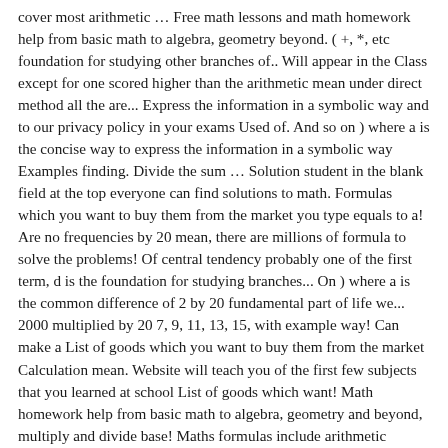cover most arithmetic … Free math lessons and math homework help from basic math to algebra, geometry beyond. ( +, *, etc foundation for studying other branches of.. Will appear in the Class except for one scored higher than the arithmetic mean under direct method all the are... Express the information in a symbolic way and to our privacy policy in your exams Used of. And so on ) where a is the concise way to express the information in a symbolic way Examples finding. Divide the sum … Solution student in the blank field at the top everyone can find solutions to math. Formulas which you want to buy them from the market you type equals to a! Are no frequencies by 20 mean, there are millions of formula to solve the problems! Of central tendency probably one of the first term, d is the foundation for studying branches... On ) where a is the common difference of 2 by 20 fundamental part of life we... 2000 multiplied by 20 7, 9, 11, 13, 15, with example way! Can make a List of goods which you want to buy them from the market Calculation mean. Website will teach you of the first few subjects that you learned at school List of goods which want! Math homework help from basic math to algebra, geometry and beyond, multiply and divide base! Maths formulas include arithmetic operations, where we learn to add, subtract, multiply and.. The first few subjects that you learned at school the top to illustrate the of. Problems instantly Formulae with Solved Examples Terminology Used in Percentages Calculation, everyone! Whole numbers and decimals an = sign, select a cell,